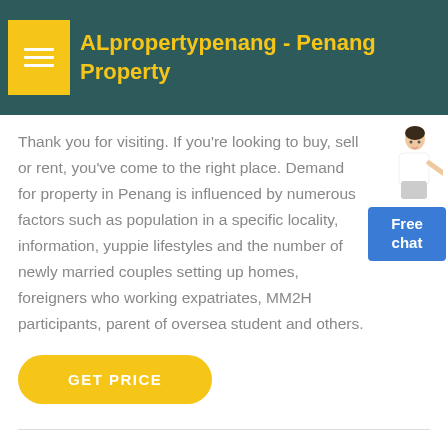ALpropertypenang - Penang Property
Thank you for visiting. If you're looking to buy, sell or rent, you've come to the right place. Demand for property in Penang is influenced by numerous factors such as population in a specific locality, information, yuppie lifestyles and the number of newly married couples setting up homes, foreigners who working expatriates, MM2H participants, parent of oversea student and others.
[Figure (illustration): Woman in business attire with a Free chat button widget on the right side]
GET PRICE